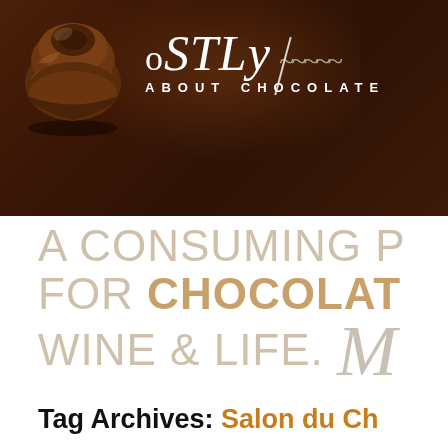[Figure (illustration): Dark chocolate truffle/candy with caramel interior exposed, shown as 3D illustration on dark brown background]
oSTLy [script flourish] ABOUT CHOCOLATE
A CONSUMING P[assion] FOR CHOCOLAT[e] WINE & LIFE. [script M]
Tag Archives: Salon du Ch[ocolat]